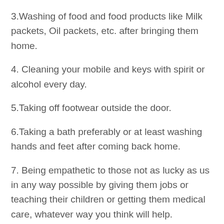3.Washing of food and food products like Milk packets, Oil packets, etc. after bringing them home.
4. Cleaning your mobile and keys with spirit or alcohol every day.
5.Taking off footwear outside the door.
6.Taking a bath preferably or at least washing hands and feet after coming back home.
7. Being empathetic to those not as lucky as us in any way possible by giving them jobs or teaching their children or getting them medical care, whatever way you think will help.